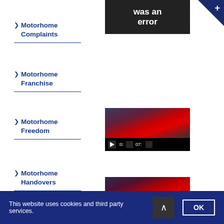[Figure (screenshot): Error image thumbnail - dark background with white text 'was an error']
> Motorhome Complaints
> Motorhome Franchise
[Figure (screenshot): Video player thumbnail showing motorhome with red roof, controls bar with play button, volume, time 07:, and fullscreen button]
> Motorhome Freedom
> Motorhome Handovers
> Motorhome Layouts
[Figure (screenshot): Video player thumbnail showing motorhome with red roof, controls bar with play button, volume, time 07:, and fullscreen button]
This website uses cookies and third party services.
OK